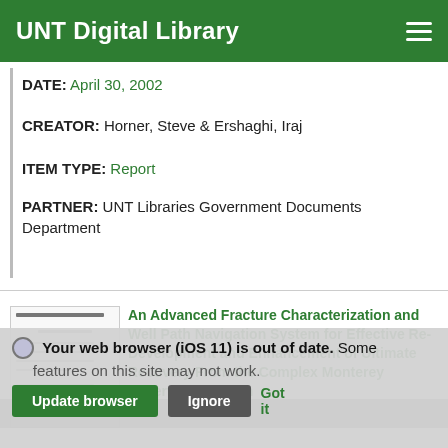UNT Digital Library
DATE: April 30, 2002
CREATOR: Horner, Steve & Ershaghi, Iraj
ITEM TYPE: Report
PARTNER: UNT Libraries Government Documents Department
[Figure (screenshot): Thumbnail of document cover page]
An Advanced Fracture Characterization and Well Path Navigation System for Effective Re-Development and Enhancement of Ultimate Recovery From the Complex Monterey Reservoir of South
Your web browser (iOS 11) is out of date. Some features on this site may not work.